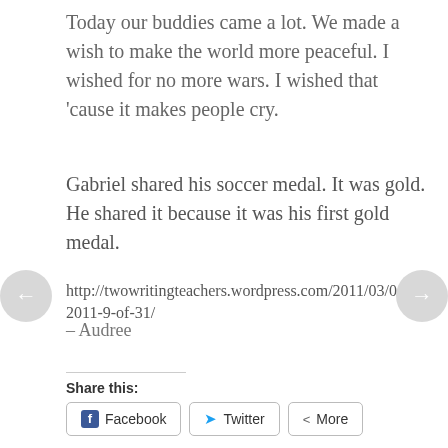Today our buddies came a lot. We made a wish to make the world more peaceful. I wished for no more wars. I wished that 'cause it makes people cry.
Gabriel shared his soccer medal. It was gold. He shared it because it was his first gold medal.
– Audree
http://twowritingteachers.wordpress.com/2011/03/0 2011-9-of-31/
Share this:
Facebook   Twitter   More